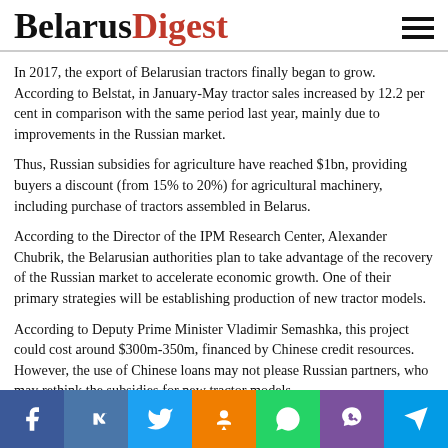BelarusDigest
In 2017, the export of Belarusian tractors finally began to grow. According to Belstat, in January-May tractor sales increased by 12.2 per cent in comparison with the same period last year, mainly due to improvements in the Russian market.
Thus, Russian subsidies for agriculture have reached $1bn, providing buyers a discount (from 15% to 20%) for agricultural machinery, including purchase of tractors assembled in Belarus.
According to the Director of the IPM Research Center, Alexander Chubrik, the Belarusian authorities plan to take advantage of the recovery of the Russian market to accelerate economic growth. One of their primary strategies will be establishing production of new tractor models.
According to Deputy Prime Minister Vladimir Semashka, this project could cost around $300m-350m, financed by Chinese credit resources. However, the use of Chinese loans may not please Russian partners, who may rethink the subsidies for new tractor models.
[Figure (infographic): Social media share buttons: Facebook (blue), VK (steel blue), Twitter (light blue), Odnoklassniki (orange), WhatsApp (green), Viber (purple), Telegram (cyan)]